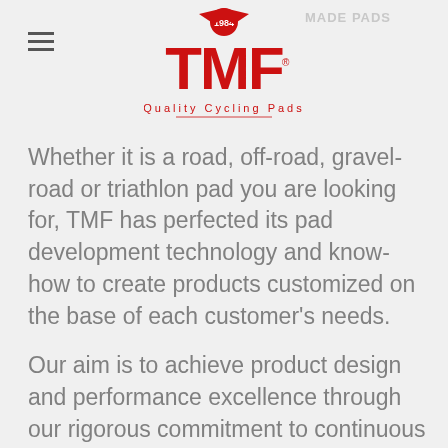TMF Quality Cycling Pads — MADE PADS
Whether it is a road, off-road, gravel-road or triathlon pad you are looking for, TMF has perfected its pad development technology and know-how to create products customized on the base of each customer's needs.
Our aim is to achieve product design and performance excellence through our rigorous commitment to continuous research into materials, technical innovation, upgrading production and quality control processes.